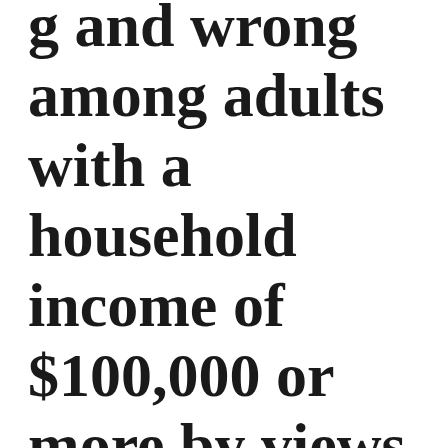g and wrong among adults with a household income of $100,000 or more by views about environmental protection